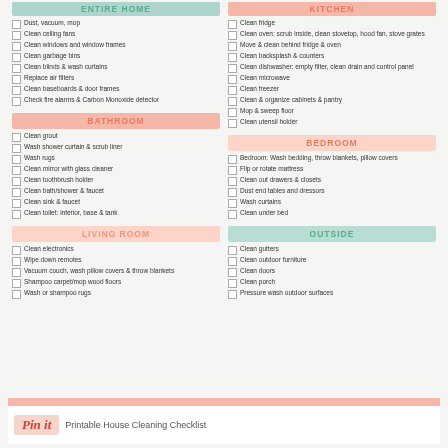ENTIRE HOME
Dust, vacuum, mop
Clean ceiling fans
Clean windows and window frames
Clean garbage bins
Clean blinds & wash curtains
Replace air filters
Clean baseboards & door frames
Check fire alarms & Carbon Monoxide detector
BATHROOM
Clean grout
Wash shower curtain & scrub liner
Wash rugs
Clean mirror with glass cleaner
Clean toothbrush holder
Clean bath/shower & faucet
Clean sink & faucet
Clean toilet: interior, base & tank
LIVING ROOM
Clean electronics
Wipe down remotes
Vacuum couch, wash pillow covers & throw blankets
Shampoo carpet/mop wood floors
Wash or shampoo rugs
KITCHEN
Clean fridge
Clean oven: scrub inside, clean stovetop, hood fan, stove grates
Move & clean behind fridge & oven
Clean backsplash & counters
Clean dishwasher: empty filter, clean drain and control panel
Clean microwave
Clean freezer
Clean & organize cabinets & pantry
Mop & sweep floor
Clean utensil holder
BEDROOM
Bedroom: Wash bedding, throw blankets, pillow covers
Flip or rotate mattress
Clean out drawers & closets
Dust end tables and dressors
Wash curtains
Clean under bed
OUTSIDE
Clean gutters
Clean outdoor furniture
Clean doors
Clean porch
Pressure wash outdoor surfaces
Pin it  Printable House Cleaning Checklist